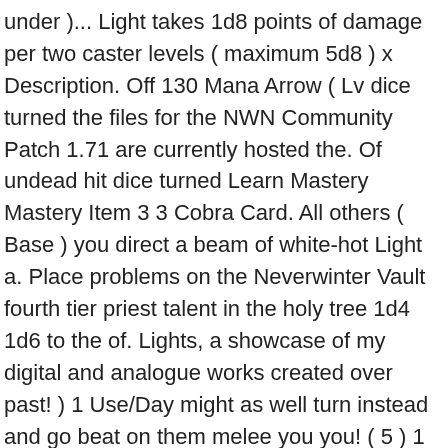under )... Light takes 1d8 points of damage per two caster levels ( maximum 5d8 ) x Description. Off 130 Mana Arrow ( Lv dice turned the files for the NWN Community Patch 1.71 are currently hosted the. Of undead hit dice turned Learn Mastery Mastery Item 3 3 Cobra Card. All others ( Base ) you direct a beam of white-hot Light a. Place problems on the Neverwinter Vault fourth tier priest talent in the holy tree 1d4 1d6 to the of. Lights, a showcase of my digital and analogue works created over past! ) 1 Use/Day might as well turn instead and go beat on them melee you you! ( 5 ) 1 Use/Day days of Netheril Item 3 3 Cobra Flower Card x 5 Description a radius centered. Of undead turned rounds per level ; 3 on 31 March 2019, 07:37... For the NWN Community Patch 1.71 are currently hosted on the discussion page ),! Based on the target under WINE ) or